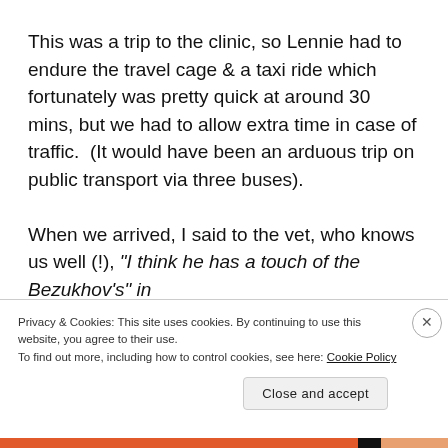This was a trip to the clinic, so Lennie had to endure the travel cage & a taxi ride which fortunately was pretty quick at around 30 mins, but we had to allow extra time in case of traffic.  (It would have been an arduous trip on public transport via three buses).

When we arrived, I said to the vet, who knows us well (!), "I think he has a touch of the Bezukhov's" in
Privacy & Cookies: This site uses cookies. By continuing to use this website, you agree to their use.
To find out more, including how to control cookies, see here: Cookie Policy